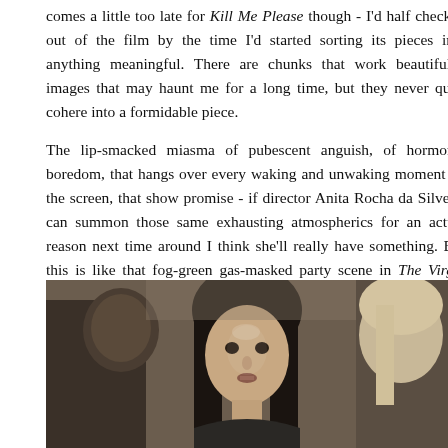comes a little too late for Kill Me Please though - I'd half checked out of the film by the time I'd started sorting its pieces into anything meaningful. There are chunks that work beautifully, images that may haunt me for a long time, but they never quite cohere into a formidable piece.

The lip-smacked miasma of pubescent anguish, of hormonal boredom, that hangs over every waking and unwaking moment on the screen, that show promise - if director Anita Rocha da Silveira can summon those same exhausting atmospherics for an actual reason next time around I think she'll really have something. But this is like that fog-green gas-masked party scene in The Virgin Suicides stretched to feature-length; I was smothering, I was smothered.
[Figure (photo): A still from the film showing three people: a person on the left partially visible, a young woman with long dark hair in the center looking forward with a slightly open mouth, and a third person partially visible on the right with lighter hair.]